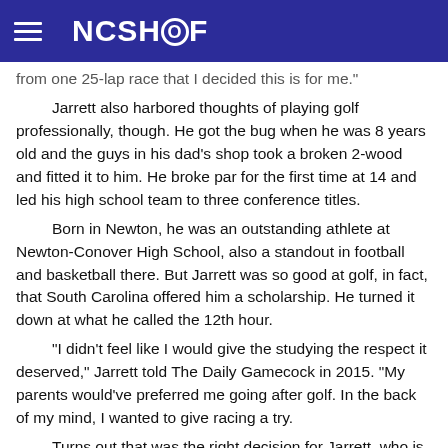NCSHOF
from one 25-lap race that I decided this is for me."

Jarrett also harbored thoughts of playing golf professionally, though. He got the bug when he was 8 years old and the guys in his dad's shop took a broken 2-wood and fitted it to him. He broke par for the first time at 14 and led his high school team to three conference titles.

Born in Newton, he was an outstanding athlete at Newton-Conover High School, also a standout in football and basketball there. But Jarrett was so good at golf, in fact, that South Carolina offered him a scholarship. He turned it down at what he called the 12th hour.

"I didn't feel like I would give the studying the respect it deserved," Jarrett told The Daily Gamecock in 2015. "My parents would've preferred me going after golf. In the back of my mind, I wanted to give racing a try.

Turns out that was the right decision for Jarrett, who is a single digit handicapper who once got down to a plus-1.

Jarrett raced from 1984 to 2008, making 668 starts, grabbing 16 poles and winning 32 times, which ranks him